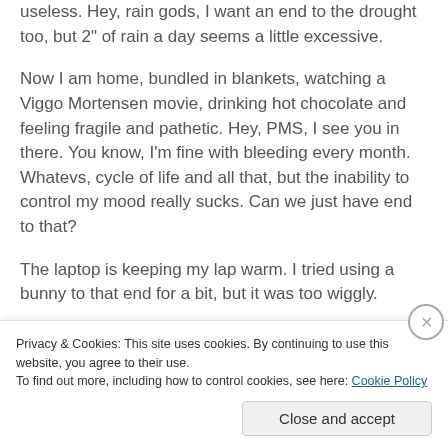useless. Hey, rain gods, I want an end to the drought too, but 2" of rain a day seems a little excessive.
Now I am home, bundled in blankets, watching a Viggo Mortensen movie, drinking hot chocolate and feeling fragile and pathetic.  Hey, PMS, I see you in there.  You know, I'm fine with bleeding every month.  Whatevs, cycle of life and all that, but the inability to control my mood really sucks.  Can we just have end to that?
The laptop is keeping my lap warm.  I tried using a bunny to that end for a bit, but it was too wiggly.
Something about…
Privacy & Cookies: This site uses cookies. By continuing to use this website, you agree to their use.
To find out more, including how to control cookies, see here: Cookie Policy
Close and accept